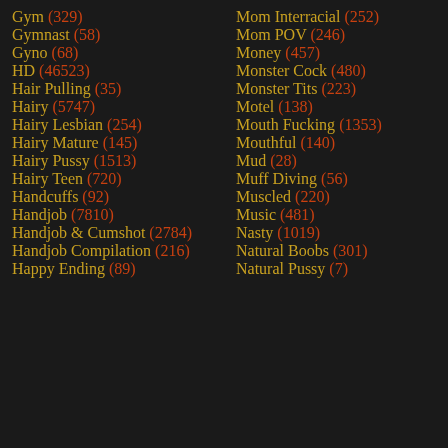Gym (329)
Mom Interracial (252)
Gymnast (58)
Mom POV (246)
Gyno (68)
Money (457)
HD (46523)
Monster Cock (480)
Hair Pulling (35)
Monster Tits (223)
Hairy (5747)
Motel (138)
Hairy Lesbian (254)
Mouth Fucking (1353)
Hairy Mature (145)
Mouthful (140)
Hairy Pussy (1513)
Mud (28)
Hairy Teen (720)
Muff Diving (56)
Handcuffs (92)
Muscled (220)
Handjob (7810)
Music (481)
Handjob & Cumshot (2784)
Nasty (1019)
Handjob Compilation (216)
Natural Boobs (301)
Happy Ending (89)
Natural Pussy (7)